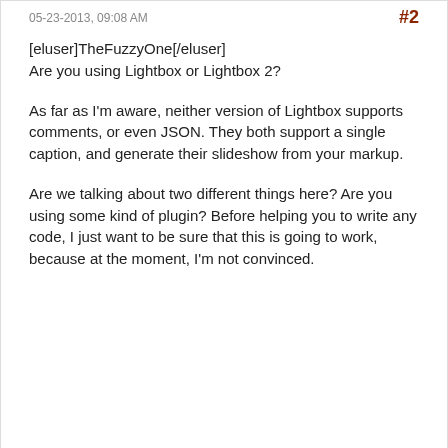05-23-2013, 09:08 AM  #2
[eluser]TheFuzzyOne[/eluser]
Are you using Lightbox or Lightbox 2?
As far as I'm aware, neither version of Lightbox supports comments, or even JSON. They both support a single caption, and generate their slideshow from your markup.
Are we talking about two different things here? Are you using some kind of plugin? Before helping you to write any code, I just want to be sure that this is going to work, because at the moment, I'm not convinced.
El Forum
Guest